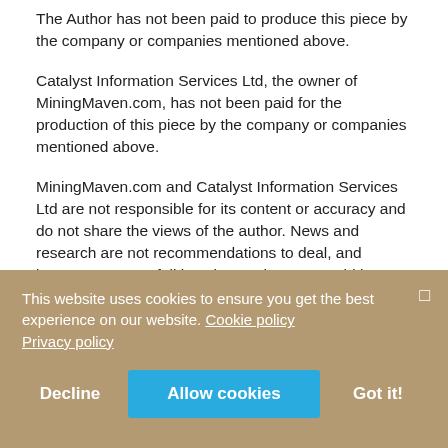The Author has not been paid to produce this piece by the company or companies mentioned above.
Catalyst Information Services Ltd, the owner of MiningMaven.com, has not been paid for the production of this piece by the company or companies mentioned above.
MiningMaven.com and Catalyst Information Services Ltd are not responsible for its content or accuracy and do not share the views of the author. News and research are not recommendations to deal, and investments may fall in value so that you could lose some or all of your investment. Past performance is not an indicator of future
This website uses cookies to ensure you get the best experience on our website. Cookie policy Privacy policy